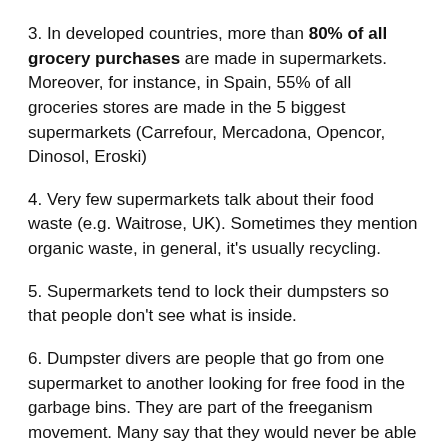3. In developed countries, more than 80% of all grocery purchases are made in supermarkets. Moreover, for instance, in Spain, 55% of all groceries stores are made in the 5 biggest supermarkets (Carrefour, Mercadona, Opencor, Dinosol, Eroski)
4. Very few supermarkets talk about their food waste (e.g. Waitrose, UK). Sometimes they mention organic waste, in general, it's usually recycling.
5. Supermarkets tend to lock their dumpsters so that people don't see what is inside.
6. Dumpster divers are people that go from one supermarket to another looking for free food in the garbage bins. They are part of the freeganism movement. Many say that they would never be able to afford such good quality food.